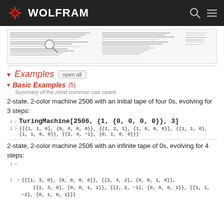WOLFRAM
[Figure (screenshot): Document preview with magnifying glass overlay, showing text about Turing machines in two columns]
Examples  open all
Basic Examples (5)
Summary of the most common use cases
2-state, 2-color machine 2506 with an initial tape of four 0s, evolving for 3 steps:
TuringMachine[2506, {1, {0, 0, 0, 0}}, 3]
{{{1, 1, 0}, {0, 0, 0, 0}}, {{2, 2, 1}, {1, 0, 0, 0}}, {{1, 1, 0}, {1, 1, 0, 0}}, {{2, 4, -1}, {0, 1, 0, 0}}}
2-state, 2-color machine 2506 with an infinite tape of 0s, evolving for 4 steps:
{{{1, 3, 0}, {0, 0, 0, 0}}, {{2, 4, 1}, {0, 0, 1, 0}},
    {{1, 3, 0}, {0, 0, 1, 1}}, {{2, 2, -1}, {0, 0, 0, 1}}, {{1, 1, -2}, {0, 1, 0, 1}}}